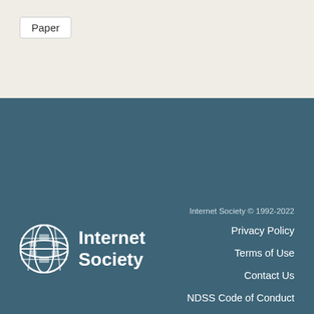Paper
[Figure (logo): Internet Society globe logo with grid pattern, white on teal background, with text 'Internet Society' to the right]
Internet Society © 1992-2022
Privacy Policy
Terms of Use
Contact Us
NDSS Code of Conduct